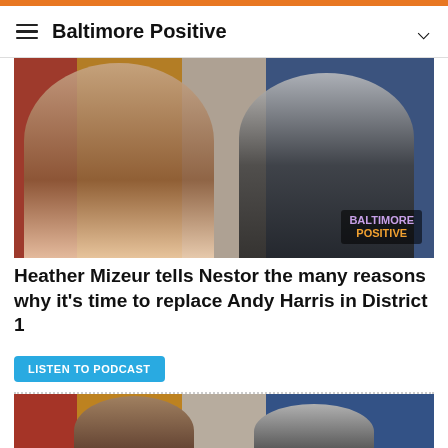Baltimore Positive
[Figure (photo): Two podcast hosts wearing headsets seated at a table with colorful curtains in the background; Baltimore Positive logo watermark in bottom right corner]
Heather Mizeur tells Nestor the many reasons why it's time to replace Andy Harris in District 1
LISTEN TO PODCAST
[Figure (photo): Two individuals wearing headsets with colorful curtains in the background, partially visible]